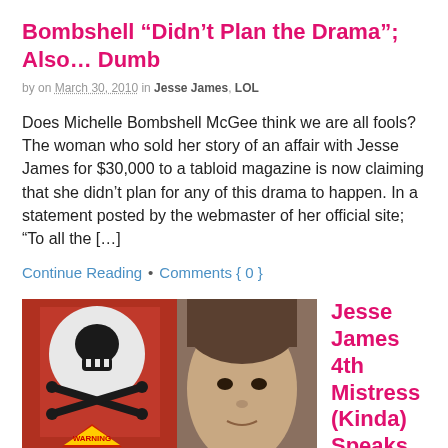Bombshell “Didn’t Plan the Drama”; Also… Dumb
by on March 30, 2010 in Jesse James, LOL
Does Michelle Bombshell McGee think we are all fools? The woman who sold her story of an affair with Jesse James for $30,000 to a tabloid magazine is now claiming that she didn’t plan for any of this drama to happen. In a statement posted by the webmaster of her official site; “To all the […]
Continue Reading • Comments { 0 }
[Figure (photo): Photo of Jesse James, a man with slicked-back hair, in front of a red background with a skull and crossbones sign and a WARNING sign]
Jesse James 4th Mistress (Kinda) Speaks